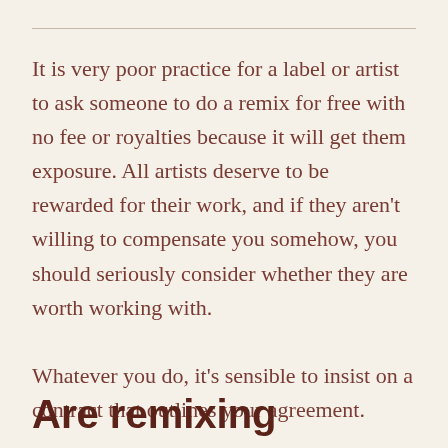It is very poor practice for a label or artist to ask someone to do a remix for free with no fee or royalties because it will get them exposure. All artists deserve to be rewarded for their work, and if they aren't willing to compensate you somehow, you should seriously consider whether they are worth working with.

Whatever you do, it's sensible to insist on a contract that outlines your agreement.
Are remixing